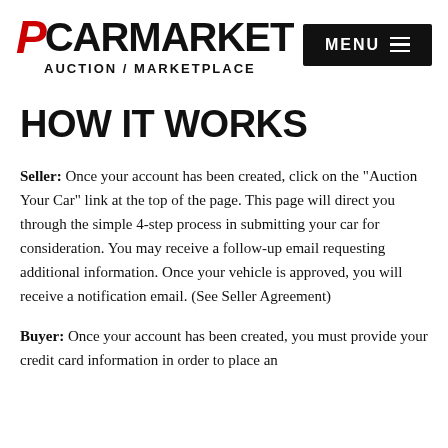PCARMARKET AUCTION / MARKETPLACE
HOW IT WORKS
Seller: Once your account has been created, click on the "Auction Your Car" link at the top of the page. This page will direct you through the simple 4-step process in submitting your car for consideration. You may receive a follow-up email requesting additional information. Once your vehicle is approved, you will receive a notification email. (See Seller Agreement)
Buyer: Once your account has been created, you must provide your credit card information in order to place an